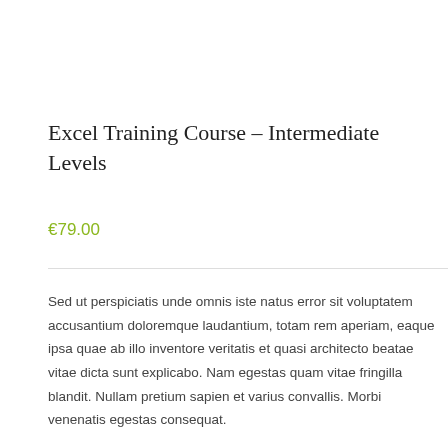Excel Training Course – Intermediate Levels
€79.00
Sed ut perspiciatis unde omnis iste natus error sit voluptatem accusantium doloremque laudantium, totam rem aperiam, eaque ipsa quae ab illo inventore veritatis et quasi architecto beatae vitae dicta sunt explicabo. Nam egestas quam vitae fringilla blandit. Nullam pretium sapien et varius convallis. Morbi venenatis egestas consequat.